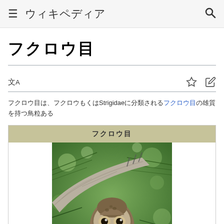ウィキペディア
フクロウ目
フクロウ目（フクロウもく）はStrigidaeに分類される鳥類の目のひとつ。
[Figure (photo): A young owl perched on a tree branch surrounded by conifer needles, looking directly at the camera. The owl has a round facial disc with dark eyes.]